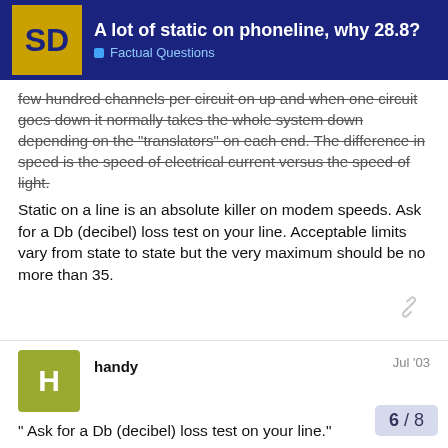A lot of static on phoneline, why 28.8? | Factual Questions
few hundred channels per circuit on up and when one circuit goes down it normally takes the whole system down depending on the "translators" on each end. The difference in speed is the speed of electrical current versus the speed of light.
Static on a line is an absolute killer on modem speeds. Ask for a Db (decibel) loss test on your line. Acceptable limits vary from state to state but the very maximum should be no more than 35.
handy   Jul '03
" Ask for a Db (decibel) loss test on your line."
I'm in California & I asked the phone guy a few years ago to test my lines & he said it was only required to test them up to 1200 baud & he did & it was fine, but who does t I hear you can get data quality lines from t